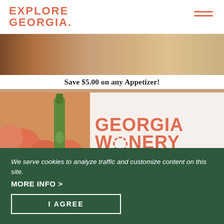[Figure (logo): Explore Georgia logo in coral/salmon color with period]
[Figure (illustration): Hamburger menu icon with three horizontal coral lines]
[Figure (photo): Charcuterie board with meats, crackers, and cheese from above]
Save $5.00 on any Appetizer!
[Figure (photo): Georgia Winery promotional image with peaches and green wine bottle, large orange text reading GEORGIA WINERY EST. 1983]
We serve cookies to analyze traffic and customize content on this site.
MORE INFO >
I AGREE